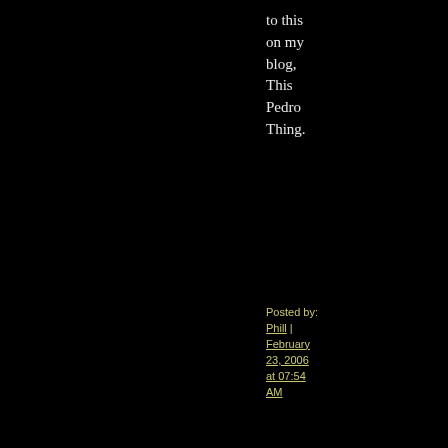to this on my blog, This Pedro Thing.
Posted by: Phill | February 23, 2006 at 07:54 AM
[Figure (illustration): Avatar image: green swirling spiral pattern on dark background, in a white-bordered square frame]
I could have sworn that the parking lot in Back to the Future was at the